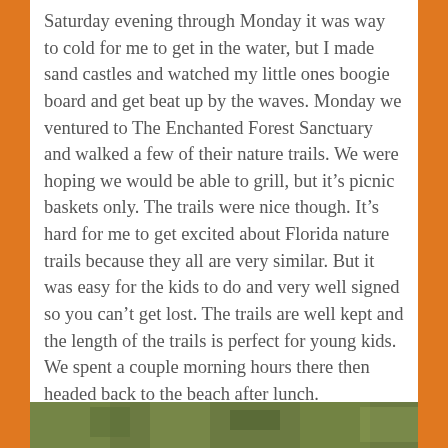Saturday evening through Monday it was way to cold for me to get in the water, but I made sand castles and watched my little ones boogie board and get beat up by the waves. Monday we ventured to The Enchanted Forest Sanctuary and walked a few of their nature trails. We were hoping we would be able to grill, but it's picnic baskets only. The trails were nice though. It's hard for me to get excited about Florida nature trails because they all are very similar. But it was easy for the kids to do and very well signed so you can't get lost. The trails are well kept and the length of the trails is perfect for young kids. We spent a couple morning hours there then headed back to the beach after lunch.
Privacy & Cookies: This site uses cookies. By continuing to use this website, you agree to their use.
To find out more, including how to control cookies, see here: Cookie Policy
Close and accept
[Figure (photo): A photo strip at the bottom showing green foliage/nature scene]